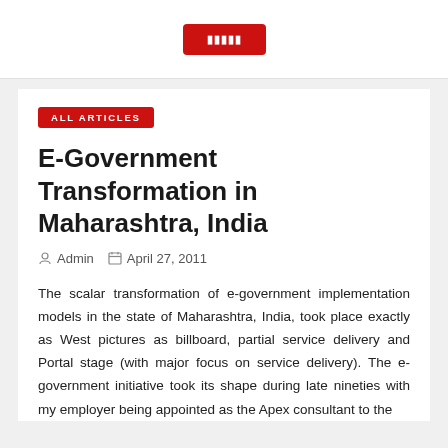[Figure (logo): Red button/logo in top white bar]
ALL ARTICLES
E-Government Transformation in Maharashtra, India
Admin   April 27, 2011
The scalar transformation of e-government implementation models in the state of Maharashtra, India, took place exactly as West pictures as billboard, partial service delivery and Portal stage (with major focus on service delivery). The e-government initiative took its shape during late nineties with my employer being appointed as the Apex consultant to the